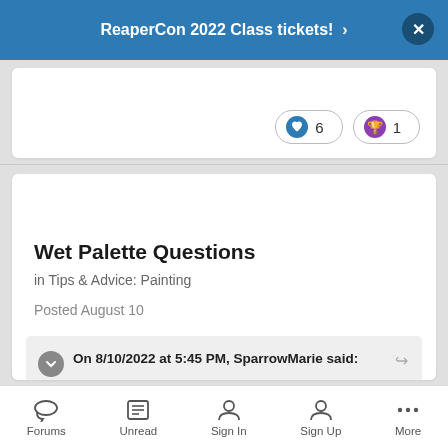ReaperCon 2022 Class tickets! ›
[Figure (infographic): Reaction buttons showing heart icon with count 6 and trophy icon with count 1]
Wet Palette Questions
in Tips & Advice: Painting
Posted August 10
On 8/10/2022 at 5:45 PM, SparrowMarie said:
Forums  Unread  Sign In  Sign Up  More